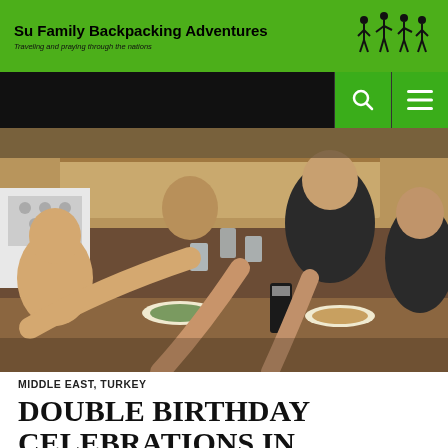Su Family Backpacking Adventures — Traveling and praying through the nations
[Figure (photo): Group of people raising glasses in a toast around a dining table in a kitchen setting]
MIDDLE EAST, TURKEY
DOUBLE BIRTHDAY CELEBRATIONS IN